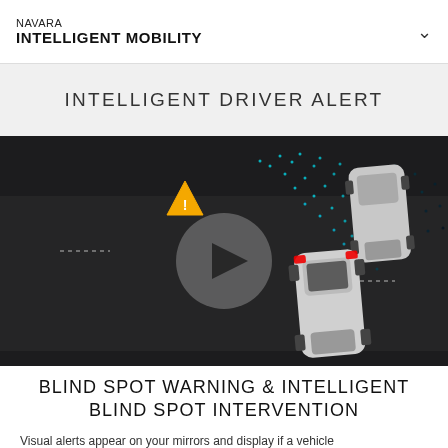NAVARA
INTELLIGENT MOBILITY
INTELLIGENT DRIVER ALERT
[Figure (screenshot): Aerial/top-down animated illustration of two vehicles on a dark road with a dotted sensor field emanating from the rear vehicle, a warning triangle icon, and a play button overlay in a circular grey button.]
BLIND SPOT WARNING & INTELLIGENT BLIND SPOT INTERVENTION
Visual alerts appear on your mirrors and display if a vehicle